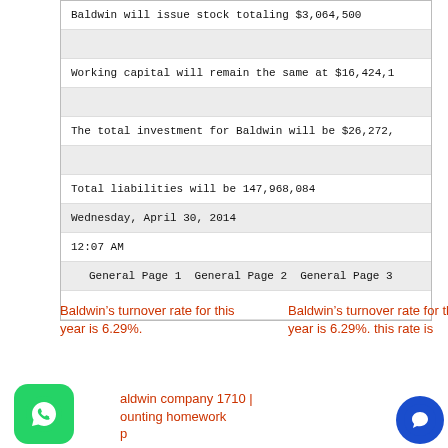Baldwin will issue stock totaling $3,064,500
Working capital will remain the same at $16,424,1...
The total investment for Baldwin will be $26,272,...
Total liabilities will be 147,968,084
Wednesday, April 30, 2014
12:07 AM
General Page 1  General Page 2  General Page 3  ...
Baldwin’s turnover rate for this year is 6.29%.
Baldwin’s turnover rate for this year is 6.29%. this rate is
Baldwin company 1710 | accounting homework help